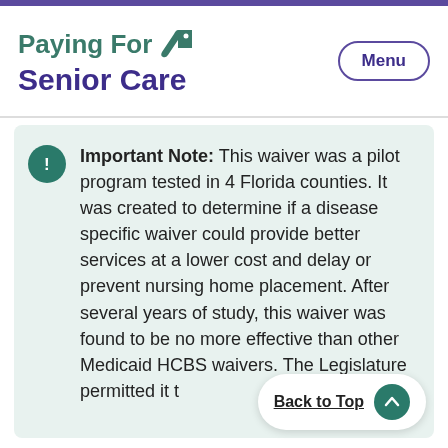Paying For Senior Care
Important Note: This waiver was a pilot program tested in 4 Florida counties. It was created to determine if a disease specific waiver could provide better services at a lower cost and delay or prevent nursing home placement. After several years of study, this waiver was found to be no more effective than other Medicaid HCBS waivers. The Legislature permitted it to expire in 2010.